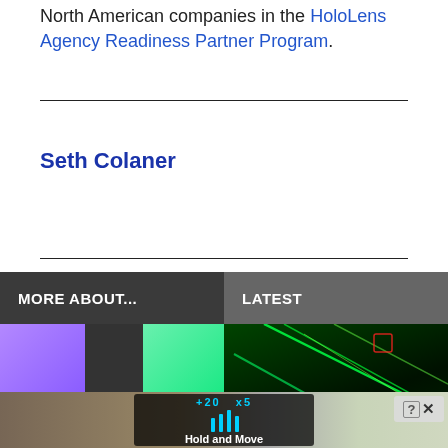North American companies in the HoloLens Agency Readiness Partner Program.
Seth Colaner
MORE ABOUT...
LATEST
[Figure (screenshot): Two thumbnail images side by side: left shows purple, dark, and green color blocks; right shows green laser/neon lights on dark background]
[Figure (screenshot): Advertisement overlay showing HUD with Hold and Move text, outdoor winter scene in background, close button top right]